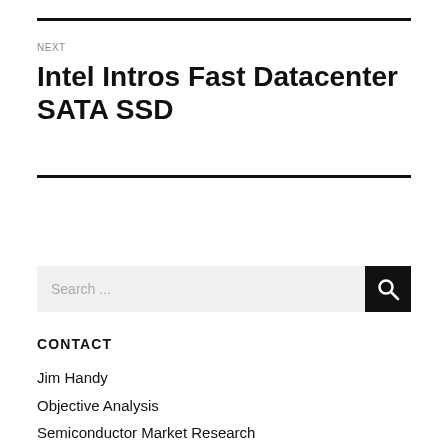NEXT
Intel Intros Fast Datacenter SATA SSD
Search ...
CONTACT
Jim Handy
Objective Analysis
Semiconductor Market Research